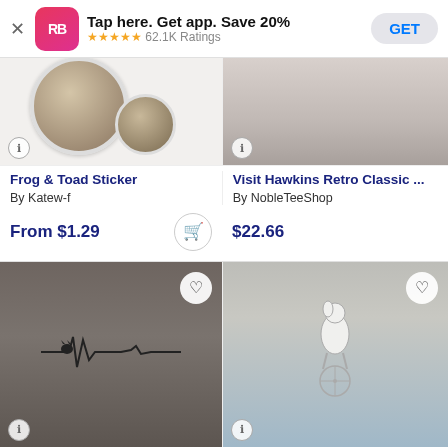Tap here. Get app. Save 20% — ★★★★★ 62.1K Ratings — GET
[Figure (screenshot): Partial product image — Frog & Toad Sticker showing a round sticker with bicycle wheel graphic on white background]
[Figure (screenshot): Partial product image — Visit Hawkins Retro Classic t-shirt, showing torso in white/light gray shirt]
Frog & Toad Sticker
By Katew-f
Visit Hawkins Retro Classic ...
By NobleTeeShop
From $1.29
$22.66
[Figure (screenshot): Dark gray t-shirt with EKG heartbeat line graphic featuring a cat silhouette, worn by female model]
[Figure (screenshot): Light gray t-shirt with illustrated greyhound/dog balancing on a penny-farthing bicycle, worn by female model]